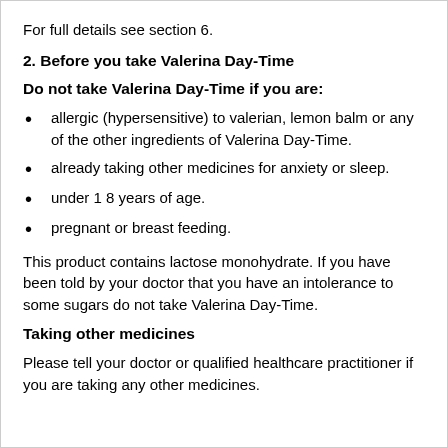For full details see section 6.
2. Before you take Valerina Day-Time
Do not take Valerina Day-Time if you are:
allergic (hypersensitive) to valerian, lemon balm or any of the other ingredients of Valerina Day-Time.
already taking other medicines for anxiety or sleep.
under 1 8 years of age.
pregnant or breast feeding.
This product contains lactose monohydrate. If you have been told by your doctor that you have an intolerance to some sugars do not take Valerina Day-Time.
Taking other medicines
Please tell your doctor or qualified healthcare practitioner if you are taking any other medicines.